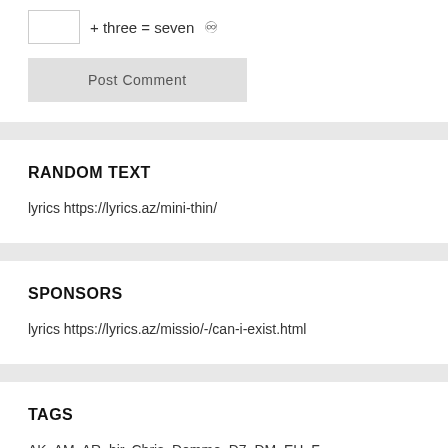+ three = seven
Post Comment
RANDOM TEXT
lyrics https://lyrics.az/mini-thin/
SPONSORS
lyrics https://lyrics.az/missio/-/can-i-exist.html
TAGS
AK, AM, AR, bir, Chris, Domme, D7, DM, EH, F